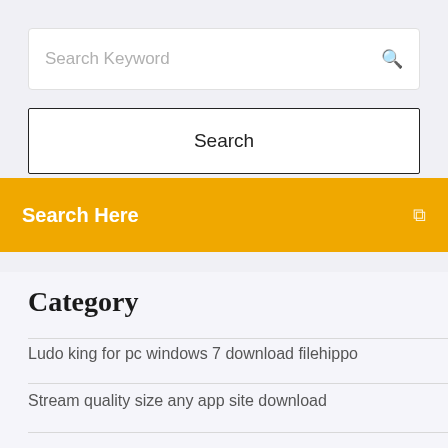[Figure (screenshot): Search keyword input box with placeholder text 'Search Keyword' and a search icon on the right]
[Figure (screenshot): Search button with text 'Search' inside a bordered box]
[Figure (screenshot): Orange/amber banner bar with text 'Search Here' on left and a small icon on right]
Category
Ludo king for pc windows 7 download filehippo
Stream quality size any app site download